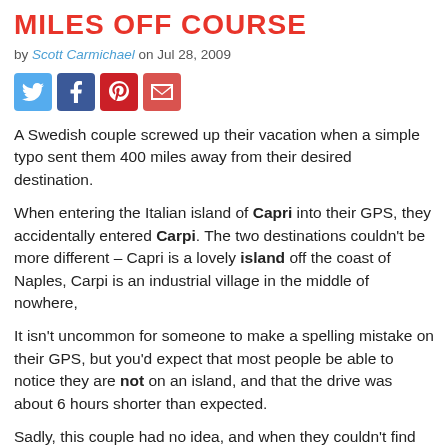MILES OFF COURSE
by Scott Carmichael on Jul 28, 2009
[Figure (other): Social sharing icons: Twitter, Facebook, Pinterest, Email]
A Swedish couple screwed up their vacation when a simple typo sent them 400 miles away from their desired destination.
When entering the Italian island of Capri into their GPS, they accidentally entered Carpi. The two destinations couldn't be more different – Capri is a lovely island off the coast of Naples, Carpi is an industrial village in the middle of nowhere,
It isn't uncommon for someone to make a spelling mistake on their GPS, but you'd expect that most people be able to notice they are not on an island, and that the drive was about 6 hours shorter than expected.
Sadly, this couple had no idea, and when they couldn't find the famous blue caves of Capri, they asked the local tourist office.